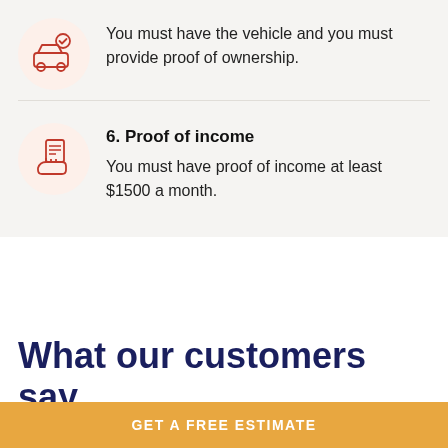You must have the vehicle and you must provide proof of ownership.
6. Proof of income
You must have proof of income at least $1500 a month.
What our customers say
GET A FREE ESTIMATE